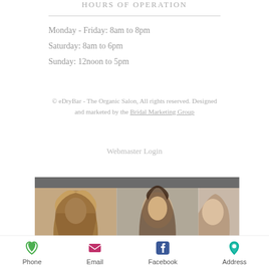HOURS OF OPERATION
Monday - Friday: 8am to 8pm
Saturday: 8am to 6pm
Sunday: 12noon to 5pm
© eDryBar - The Organic Salon, All rights reserved. Designed and marketed by the Bridal Marketing Group
Webmaster Login
[Figure (photo): Strip of three hair salon model photos below a dark grey banner]
Phone  Email  Facebook  Address